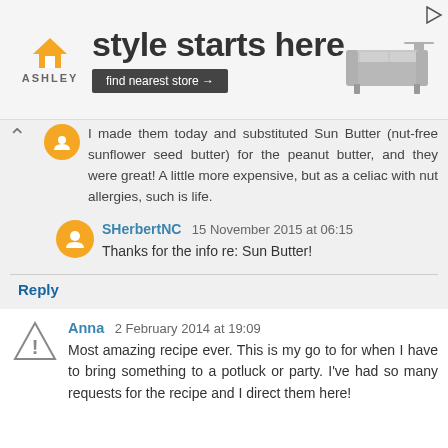[Figure (other): Ashley Furniture advertisement banner with logo, 'style starts here' tagline, 'find nearest store →' button, and a sofa image]
I made them today and substituted Sun Butter (nut-free sunflower seed butter) for the peanut butter, and they were great! A little more expensive, but as a celiac with nut allergies, such is life.
SHerbertNC  15 November 2015 at 06:15
Thanks for the info re: Sun Butter!
Reply
Anna  2 February 2014 at 19:09
Most amazing recipe ever. This is my go to for when I have to bring something to a potluck or party. I've had so many requests for the recipe and I direct them here!